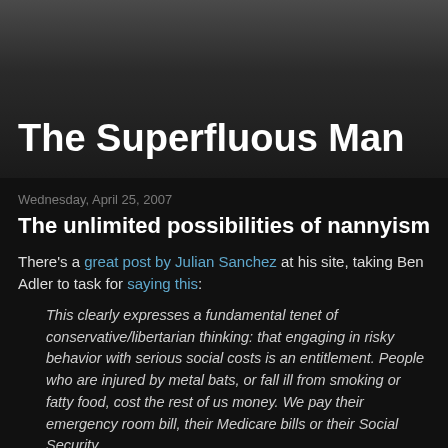The Superfluous Man
Wednesday, April 25, 2007
The unlimited possibilities of nannyism
There's a great post by Julian Sanchez at his site, taking Ben Adler to task for saying this:
This clearly expresses a fundamental tenet of conservative/libertarian thinking: that engaging in risky behavior with serious social costs is an entitlement. People who are injured by metal bats, or fall ill from smoking or fatty food, cost the rest of us money. We pay their emergency room bill, their Medicare bills or their Social Security